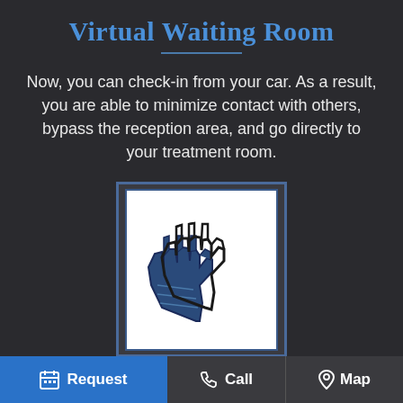Virtual Waiting Room
Now, you can check-in from your car. As a result, you are able to minimize contact with others, bypass the reception area, and go directly to your treatment room.
[Figure (illustration): Icon of two gloved hands overlapping, shown inside a white box with a dark blue border, on a dark background. Represents 'No Patient Gloves Allowed'.]
No Patient Gloves Allowed
Request   Call   Map